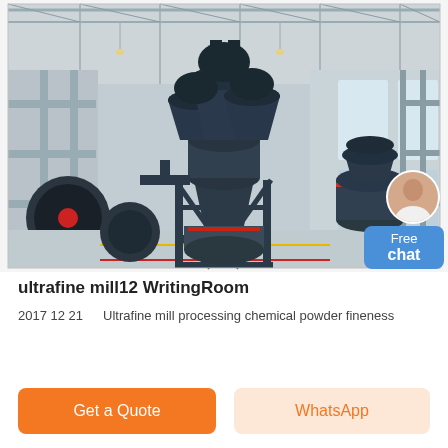[Figure (photo): Industrial ultrafine mill machine in a large warehouse/factory, dark grey metal structure with cyclone separators on top, standing on steel frame legs, with similar machinery in background. A 'Free chat' blue button and a customer service person icon overlay the top-right of the image.]
ultrafine mill12 WritingRoom
2017 12 21    Ultrafine mill processing chemical powder fineness
Get a Quote
WhatsApp